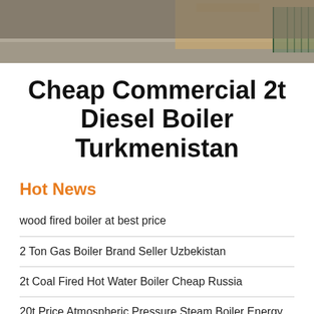[Figure (photo): Photograph of a building exterior with tan/beige wall and metal gate visible, partially cropped]
Cheap Commercial 2t Diesel Boiler Turkmenistan
Hot News
wood fired boiler at best price
2 Ton Gas Boiler Brand Seller Uzbekistan
2t Coal Fired Hot Water Boiler Cheap Russia
20t Price Atmospheric Pressure Steam Boiler Energy Saving